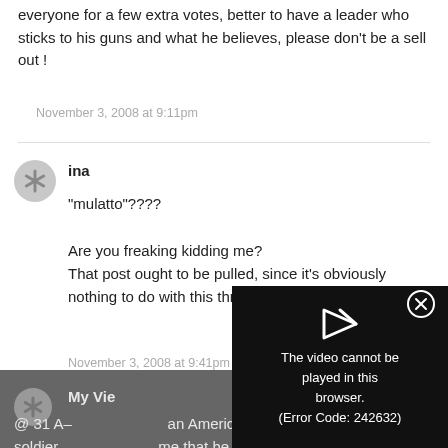everyone for a few extra votes, better to have a leader who sticks to his guns and what he believes, please don’t be a sell out !
November 3, 2008 at 9:11pm
ina
“mulatto”????

Are you freaking kidding me?
That post ought to be pulled, since it’s obviously nothing to do with this thread re: gay marriage.
November 3, 2008 at 9:41pm
[Figure (screenshot): Video error popup overlay showing a play icon and the message 'The video cannot be played in this browser. (Error Code: 242632)' with a close button (X circle) on a dark background.]
My Vie
@ 31 A– an American soldier me that he was off to Iraq in a few days time to topple evil dictator Saddam. I told him that the US would be